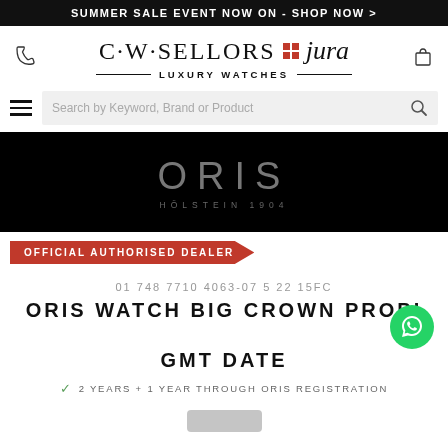SUMMER SALE EVENT NOW ON - SHOP NOW >
[Figure (logo): C·W·SELLORS jura Luxury Watches logo with red grid dots and phone/bag icons]
Search by Keyword, Brand or Product
[Figure (logo): ORIS HÖLSTEIN 1904 logo on black background]
OFFICIAL AUTHORISED DEALER
01 748 7710 4063-07 5 22 15FC
ORIS WATCH BIG CROWN PROPI GMT DATE
✓ 2 YEARS + 1 YEAR THROUGH ORIS REGISTRATION
[Figure (photo): Bottom of watch strap visible at bottom edge of page]